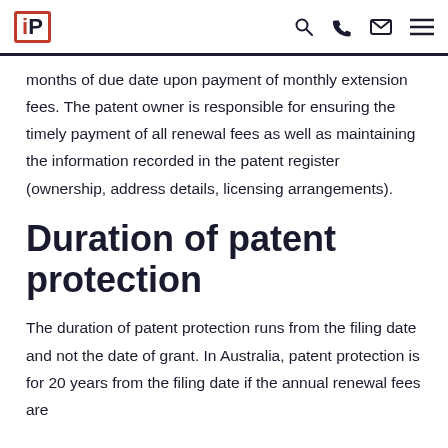IP logo and navigation icons
months of due date upon payment of monthly extension fees. The patent owner is responsible for ensuring the timely payment of all renewal fees as well as maintaining the information recorded in the patent register (ownership, address details, licensing arrangements).
Duration of patent protection
The duration of patent protection runs from the filing date and not the date of grant. In Australia, patent protection is for 20 years from the filing date if the annual renewal fees are